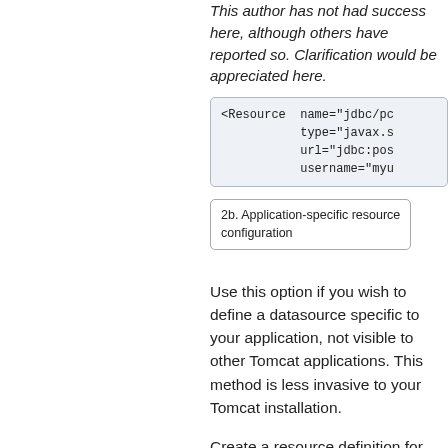This author has not had success here, although others have reported so. Clarification would be appreciated here.
[Figure (screenshot): Code block showing XML Resource element with name='jdbc/pc', type='javax.s...', url='jdbc:pos...', username='myu...']
2b. Application-specific resource configuration
Use this option if you wish to define a datasource specific to your application, not visible to other Tomcat applications. This method is less invasive to your Tomcat installation.
Create a resource definition for your Context. The Context element should look something like the following